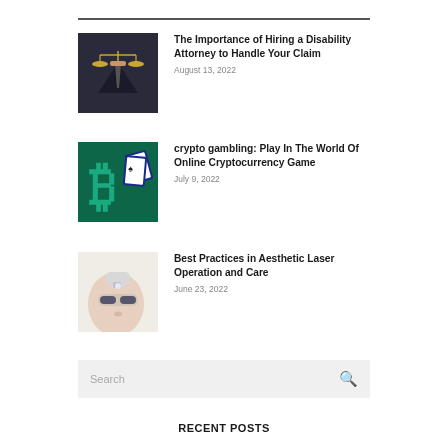[Figure (photo): Person in dark suit holding scales of justice]
The Importance of Hiring a Disability Attorney to Handle Your Claim
August 13, 2022
[Figure (photo): Green background with Bitcoin symbol and playing cards]
crypto gambling: Play In The World Of Online Cryptocurrency Game
July 9, 2022
[Figure (photo): Person receiving aesthetic laser treatment on face]
Best Practices in Aesthetic Laser Operation and Care
June 23, 2022
RECENT POSTS